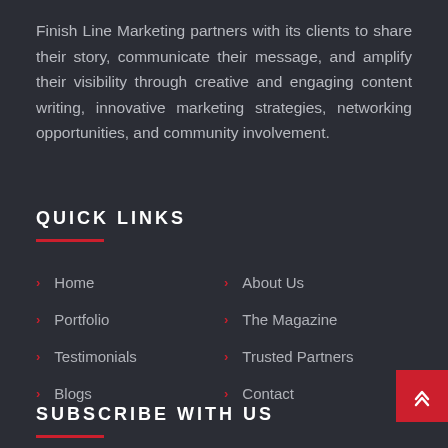Finish Line Marketing partners with its clients to share their story, communicate their message, and amplify their visibility through creative and engaging content writing, innovative marketing strategies, networking opportunities, and community involvement.
QUICK LINKS
Home
About Us
Portfolio
The Magazine
Testimonials
Trusted Partners
Blogs
Contact
SUBSCRIBE WITH US